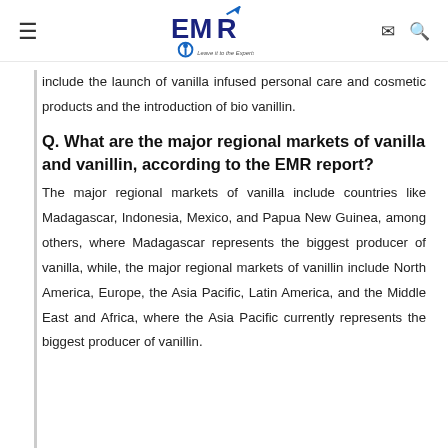EMR — Leave it to the Experts
include the launch of vanilla infused personal care and cosmetic products and the introduction of bio vanillin.
Q. What are the major regional markets of vanilla and vanillin, according to the EMR report?
The major regional markets of vanilla include countries like Madagascar, Indonesia, Mexico, and Papua New Guinea, among others, where Madagascar represents the biggest producer of vanilla, while, the major regional markets of vanillin include North America, Europe, the Asia Pacific, Latin America, and the Middle East and Africa, where the Asia Pacific currently represents the biggest producer of vanillin.